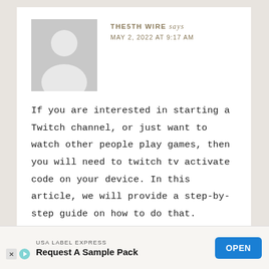[Figure (illustration): Default user avatar: grey square with white silhouette of a person (circle head, rounded shoulders)]
THE5TH WIRE says
MAY 2, 2022 AT 9:17 AM
If you are interested in starting a Twitch channel, or just want to watch other people play games, then you will need to twitch tv activate code on your device. In this article, we will provide a step-by-step guide on how to do that.
Reply
[Figure (other): Advertisement banner: USA LABEL EXPRESS — Request A Sample Pack — OPEN button]